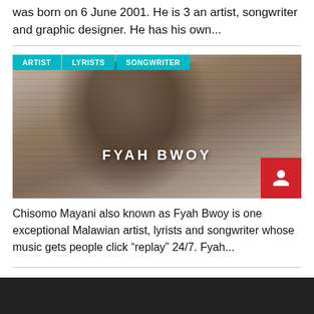was born on 6 June 2001. He is 3 an artist, songwriter and graphic designer. He has his own...
[Figure (photo): Photo of Fyah Bwoy (Chisomo Mayani), a Malawian artist, wearing a striped shirt. Tags: ARTIST, LYRISTS, SONGWRITER. Name overlay: FYAH BWOY. Red profile icon in bottom right corner.]
Chisomo Mayani also known as Fyah Bwoy is one exceptional Malawian artist, lyrists and songwriter whose music gets people click "replay" 24/7. Fyah...